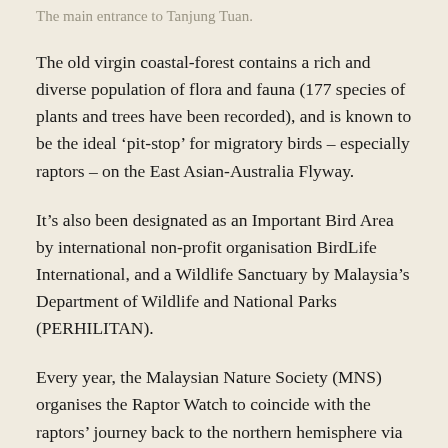The main entrance to Tanjung Tuan.
The old virgin coastal-forest contains a rich and diverse population of flora and fauna (177 species of plants and trees have been recorded), and is known to be the ideal ‘pit-stop’ for migratory birds – especially raptors – on the East Asian-Australia Flyway.
It’s also been designated as an Important Bird Area by international non-profit organisation BirdLife International, and a Wildlife Sanctuary by Malaysia’s Department of Wildlife and National Parks (PERHILITAN).
Every year, the Malaysian Nature Society (MNS) organises the Raptor Watch to coincide with the raptors’ journey back to the northern hemisphere via Tanjung Tuan, with the aim of spreading awareness on the conservation of raptors and their habitats.